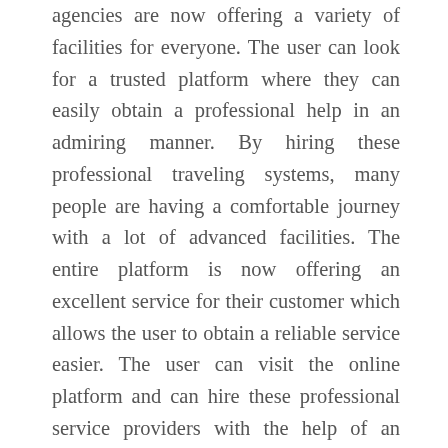agencies are now offering a variety of facilities for everyone. The user can look for a trusted platform where they can easily obtain a professional help in an admiring manner. By hiring these professional traveling systems, many people are having a comfortable journey with a lot of advanced facilities. The entire platform is now offering an excellent service for their customer which allows the user to obtain a reliable service easier. The user can visit the online platform and can hire these professional service providers with the help of an online platform. Look for the best agency who is offering a reliable service with all the requirements. The agency will offer more tips and tricks to make you travel comfortably. Compared to the other traveling agency, this advanced traveling agency is gaining huge popularity in an effective manner. Many people are